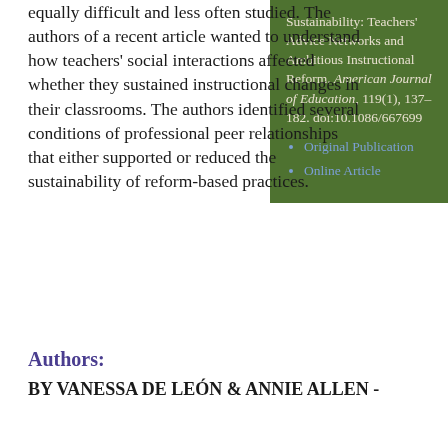equally difficult and less often studied. The authors of a recent article wanted to understand how teachers' social interactions affected whether they sustained instructional changes in their classrooms. The authors identified several conditions of professional peer relationships that either supported or reduced the sustainability of reform-based practices.
Sustainability: Teachers' Advice Networks and Ambitious Instructional Reform. American Journal of Education, 119(1), 137–182. doi:10.1086/667699
Original Publication
Online Article
Authors:
BY VANESSA DE LEÓN & ANNIE ALLEN -